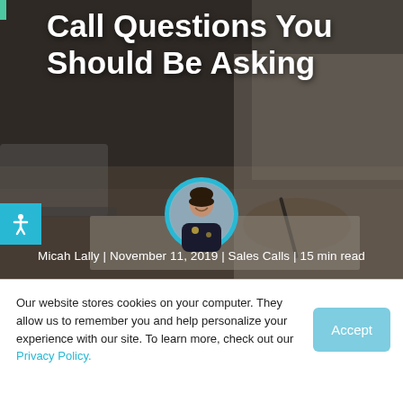[Figure (photo): Hero banner image: a person writing/taking notes at a desk with a laptop visible, blurred dark-toned background. A circular avatar photo of a smiling woman (Micah Lally) is overlaid at center. A small teal/cyan accessibility icon button is on the left side.]
Call Questions You Should Be Asking
Micah Lally | November 11, 2019 | Sales Calls | 15 min read
Our website stores cookies on your computer. They allow us to remember you and help personalize your experience with our site. To learn more, check out our Privacy Policy.